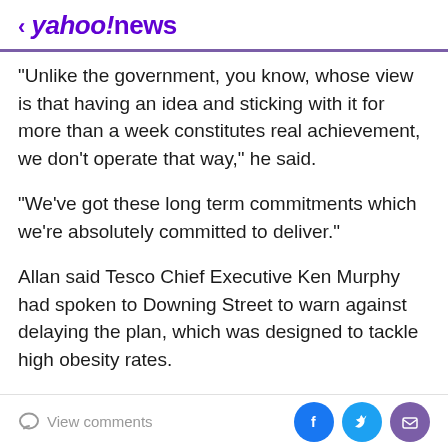< yahoo!news
"Unlike the government, you know, whose view is that having an idea and sticking with it for more than a week constitutes real achievement, we don't operate that way," he said.
"We've got these long term commitments which we're absolutely committed to deliver."
Allan said Tesco Chief Executive Ken Murphy had spoken to Downing Street to warn against delaying the plan, which was designed to tackle high obesity rates.
"Ken personally told the prime minister's chief of staff more or less on the day that it was announced that we thought this was a really bad move on the part of the
View comments